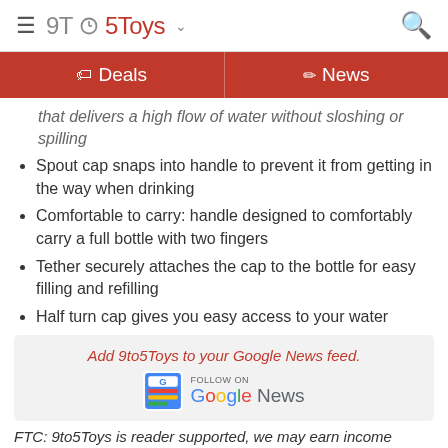9to5Toys
Deals | News
that delivers a high flow of water without sloshing or spilling
Spout cap snaps into handle to prevent it from getting in the way when drinking
Comfortable to carry: handle designed to comfortably carry a full bottle with two fingers
Tether securely attaches the cap to the bottle for easy filling and refilling
Half turn cap gives you easy access to your water
[Figure (infographic): Add 9to5Toys to your Google News feed. Follow on Google News badge.]
FTC: 9to5Toys is reader supported, we may earn income